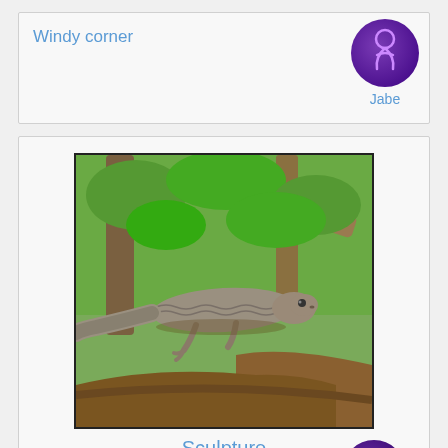Windy corner
Jabe
[Figure (photo): Photo of a large lizard or monitor lizard climbing across tree branches, with green foliage in the background]
Sculpture
October 31st 2009
Trying to cross the border without a hitch